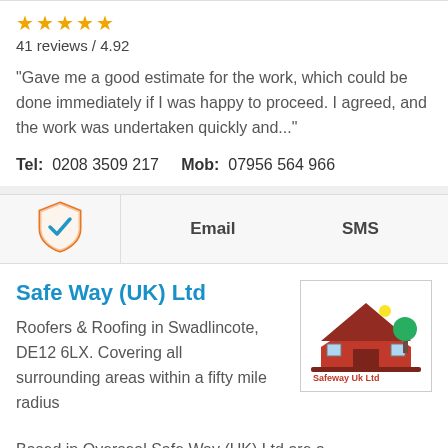★★★★★
41 reviews / 4.92
"Gave me a good estimate for the work, which could be done immediately if I was happy to proceed. I agreed, and the work was undertaken quickly and..."
Tel: 0208 3509 217   Mob: 07956 564 966
[Figure (illustration): Orange shield with blue checkmark icon]
Email    SMS
Safe Way (UK) Ltd
[Figure (logo): Safeway Uk Ltd logo with house, tree and red ground elements]
Roofers & Roofing in Swadlincote, DE12 6LX. Covering all surrounding areas within a fifty mile radius
Based in Overseal Safe Way (UK) Ltd are a